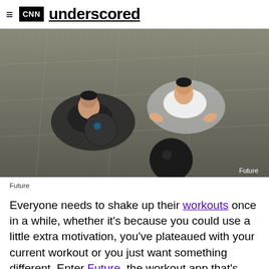CNN underscored
[Figure (photo): Aerial view of two athletes doing push-ups with medicine balls on a concrete surface, viewed from above]
Future
Future
Everyone needs to shake up their workouts once in a while, whether it's because you could use a little extra motivation, you've plateaued with your current workout or you just want something different. Enter Future, the workout app that's basically a personal